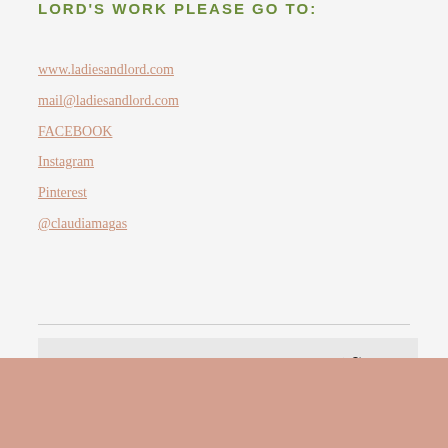LORD'S WORK PLEASE GO TO:
www.ladiesandlord.com
mail@ladiesandlord.com
FACEBOOK
Instagram
Pinterest
@claudiamagas
SHARE THIS POST
[jprel]
HAVE YOU TRIED OUR FABULOUS
REAL WEDDINGS STYLED SHOOTS?